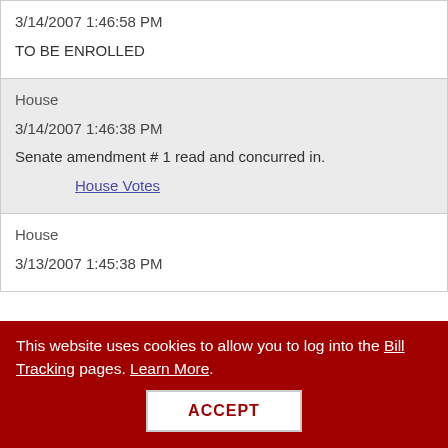|  | 3/14/2007 1:46:58 PM | TO BE ENROLLED |
| House | 3/14/2007 1:46:38 PM | Senate amendment # 1 read and concurred in. | House Votes |
| House | 3/13/2007 1:45:38 PM |  |
This website uses cookies to allow you to log into the Bill Tracking pages. Learn More.
ACCEPT